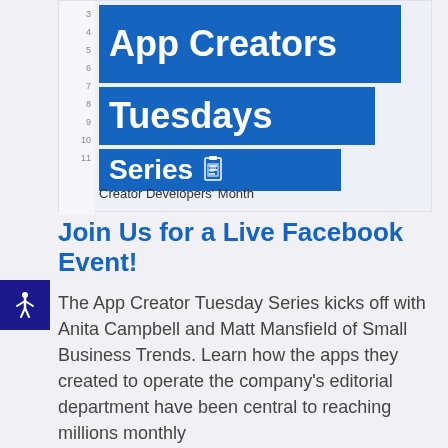[Figure (screenshot): Calendar/event image showing 'App Creators Tuesdays Series' with blue title bars and row numbers 3-11 on the left side, and 'Creator Developers' Month' label at row 11]
Join Us for a Live Facebook Event!
The App Creator Tuesday Series kicks off with Anita Campbell and Matt Mansfield of Small Business Trends. Learn how the apps they created to operate the company's editorial department have been central to reaching millions monthly